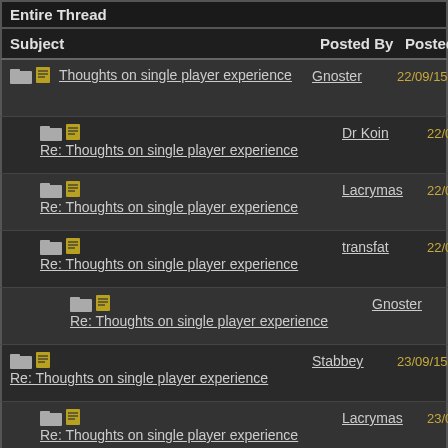Entire Thread
| Subject | Posted By | Posted |
| --- | --- | --- |
| Thoughts on single player experience | Gnoster | 22/09/15 08:27 PM |
| Re: Thoughts on single player experience | Dr Koin | 22/09/15 08:39 PM |
| Re: Thoughts on single player experience | Lacrymas | 22/09/15 08:49 PM |
| Re: Thoughts on single player experience | transfat | 22/09/15 10:34 PM |
| Re: Thoughts on single player experience | Gnoster | 23/09/15 08:25 AM |
| Re: Thoughts on single player experience | Stabbey | 23/09/15 12:24 AM |
| Re: Thoughts on single player experience | Lacrymas | 23/09/15 12:35 AM |
| Re: Thoughts on single player experience | LeBurns | 23/09/15 03:30 PM |
| Re: Thoughts on single player experience | Raze | 23/09/15 01:38 AM |